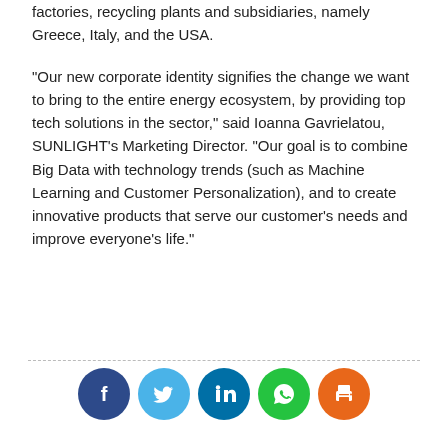factories, recycling plants and subsidiaries, namely Greece, Italy, and the USA.
“Our new corporate identity signifies the change we want to bring to the entire energy ecosystem, by providing top tech solutions in the sector,” said Ioanna Gavrielatou, SUNLIGHT’s Marketing Director. “Our goal is to combine Big Data with technology trends (such as Machine Learning and Customer Personalization), and to create innovative products that serve our customer’s needs and improve everyone’s life.”
[Figure (infographic): Social media sharing icons: Facebook (dark blue), Twitter (light blue), LinkedIn (dark teal), WhatsApp (green), Print (orange)]